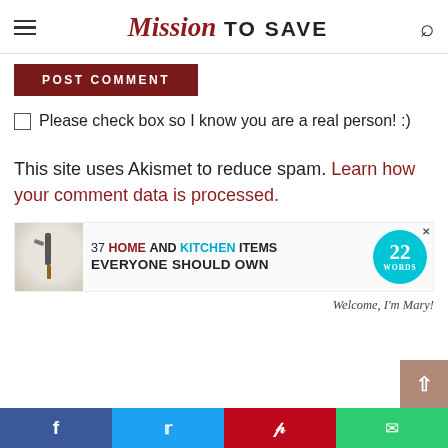Mission TO SAVE
POST COMMENT
Please check box so I know you are a real person! :)
This site uses Akismet to reduce spam. Learn how your comment data is processed.
[Figure (other): Advertisement banner: 37 HOME AND KITCHEN ITEMS EVERYONE SHOULD OWN, with 22 Words badge logo]
Welcome, I'm Mary!
Social share bar: Facebook, Twitter, Pinterest, Email